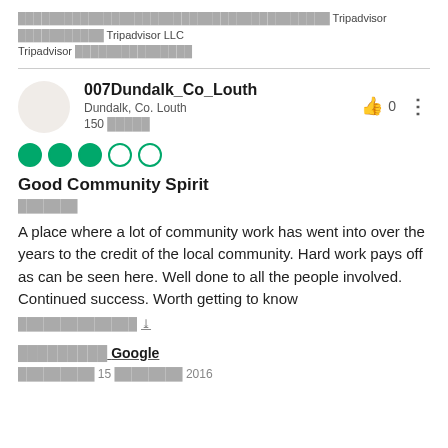□□□□□□□□□□□□□□□□□□□□□□□□□□□□□□□□□□□□□□□□ Tripadvisor □□□□□□□□□□□ Tripadvisor LLC Tripadvisor □□□□□□□□□□□□□□□
007Dundalk_Co_Louth
Dundalk, Co. Louth
150 □□□□□
Good Community Spirit
□□□□□□□
A place where a lot of community work has went into over the years to the credit of the local community. Hard work pays off as can be seen here. Well done to all the people involved. Continued success. Worth getting to know
□□□□□□□□□□□□□□ ∨
□□□□□□□□□ Google
□□□□□□□□□ 15 □□□□□□□□ 2016